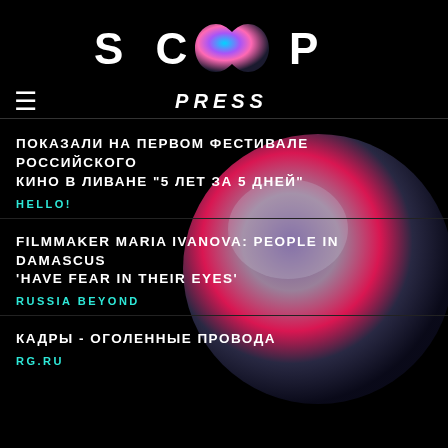[Figure (logo): SCOOP logo with infinity/disc symbol between SC and P letters]
PRESS
ПОКАЗАЛИ НА ПЕРВОМ ФЕСТИВАЛЕ РОССИЙСКОГО КИНО В ЛИВАНЕ "5 ЛЕТ ЗА 5 ДНЕЙ"
HELLO!
FILMMAKER MARIA IVANOVA: PEOPLE IN DAMASCUS 'HAVE FEAR IN THEIR EYES'
RUSSIA BEYOND
КАДРЫ - ОГОЛЕННЫЕ ПРОВОДА
RG.RU